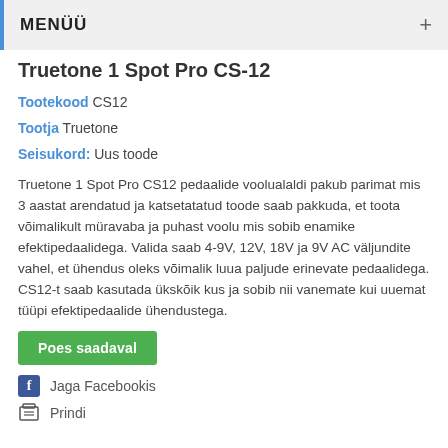MENÜÜ
Truetone 1 Spot Pro CS-12
Tootekood CS12
Tootja Truetone
Seisukord: Uus toode
Truetone 1 Spot Pro CS12 pedaalide voolualaldi pakub parimat mis 3 aastat arendatud ja katsetatatud toode saab pakkuda, et toota võimalikult müravaba ja puhast voolu mis sobib enamike efektipedaalidega. Valida saab 4-9V, 12V, 18V ja 9V AC väljundite vahel, et ühendus oleks võimalik luua paljude erinevate pedaalidega. CS12-t saab kasutada ükskõik kus ja sobib nii vanemate kui uuemat tüüpi efektipedaalide ühendustega.
Poes saadaval
Jaga Facebookis
Prindi